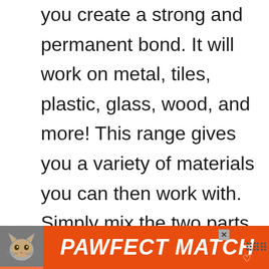This glue is a two-part epoxy, letting you create a strong and permanent bond. It will work on metal, tiles, plastic, glass, wood, and more! This range gives you a variety of materials you can then work with. Simply mix the two parts together in a 1-1 ratio. Once you mix, you can then apply the glue directly. It will take only 5 minutes to set, and an hour to cure
[Figure (infographic): PAWFECT MATCH advertisement banner with cat photo, orange background, and white bold italic text]